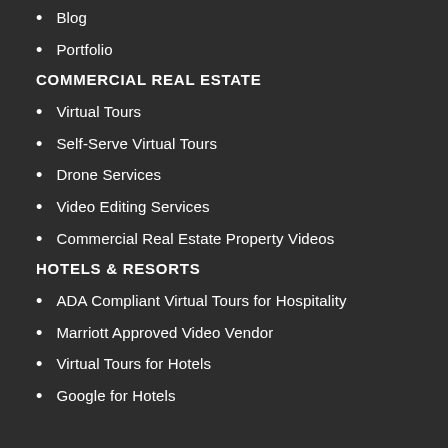Blog
Portfolio
COMMERCIAL REAL ESTATE
Virtual Tours
Self-Serve Virtual Tours
Drone Services
Video Editing Services
Commercial Real Estate Property Videos
HOTELS & RESORTS
ADA Compliant Virtual Tours for Hospitality
Marriott Approved Video Vendor
Virtual Tours for Hotels
Google for Hotels